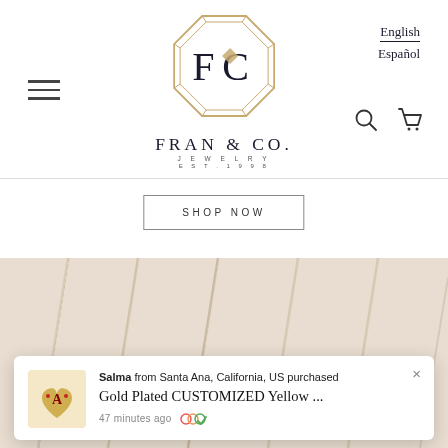[Figure (logo): Fran & Co. Jewelry logo — octagonal gem outline with FC letters and diamond, text FRAN & CO. JEWELRY EST.1998]
English
Español
SHOP NOW
[Figure (photo): Close-up photo of multiple gold chain necklaces laid out on a light beige/cream background]
Salma from Santa Ana, California, US purchased
Gold Plated CUSTOMIZED Yellow ...
47 minutes ago